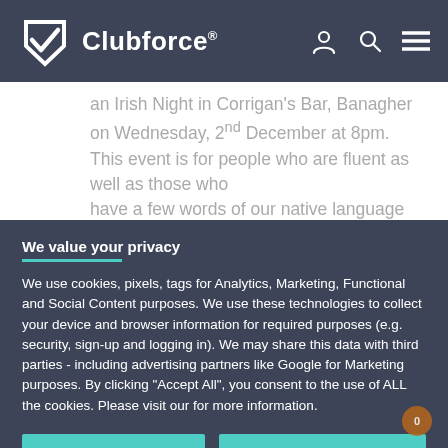Clubforce®
an Irish Night in Corrigan's Bar, Banagher on Wednesday, 2nd December at 8pm. This event is for people who are fluent as well as those who have a few words of our native language but would like to improve. All are welcome.
We value your privacy
We use cookies, pixels, tags for Analytics, Marketing, Functional and Social Content purposes. We use these technologies to collect your device and browser information for required purposes (e.g. security, sign-up and logging in). We may share this data with third parties - including advertising partners like Google for Marketing purposes. By clicking "Accept All", you consent to the use of ALL the cookies. Please visit our for more information.
ACCEPT ALL
COOKIE SETTINGS